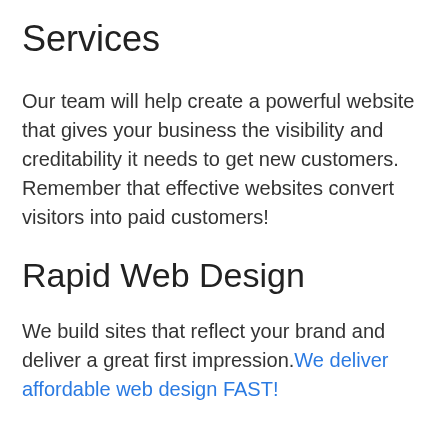Services
Our team will help create a powerful website that gives your business the visibility and creditability it needs to get new customers. Remember that effective websites convert visitors into paid customers!
Rapid Web Design
We build sites that reflect your brand and deliver a great first impression.We deliver affordable web design FAST!